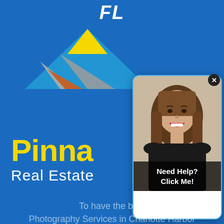FL
[Figure (logo): Pinnacle Real Estate logo with mountain/house shape in blue, grey, yellow, and orange, with text 'Pinna' (partially visible) and 'Real Estate' in white on blue background]
[Figure (photo): Popup card showing a smiling woman with long brown hair wearing a black top, with 'Need Help? Click Me!' text overlay at bottom, close button (x) at top right, cyan border, rounded corners]
To have the best
Photography Services in Charlotte Harbor